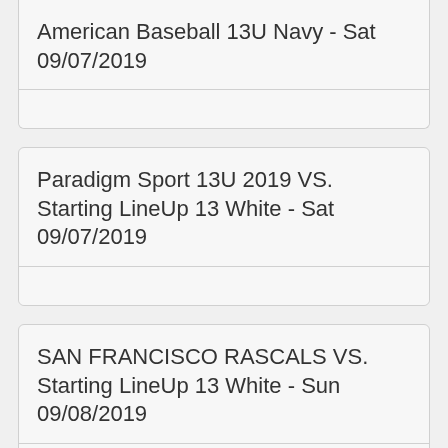American Baseball 13U Navy - Sat 09/07/2019
Paradigm Sport 13U 2019 VS. Starting LineUp 13 White - Sat 09/07/2019
SAN FRANCISCO RASCALS VS. Starting LineUp 13 White - Sun 09/08/2019